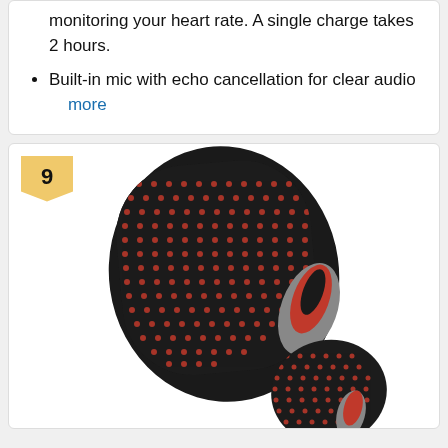monitoring your heart rate. A single charge takes 2 hours.
Built-in mic with echo cancellation for clear audio  more
[Figure (photo): Two black wireless earbuds with red dot mesh speaker grilles and silver/grey stems, product rank badge showing number 9 in golden yellow]